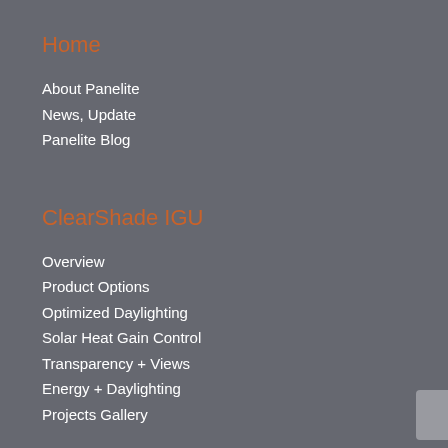Home
About Panelite
News, Update
Panelite Blog
ClearShade IGU
Overview
Product Options
Optimized Daylighting
Solar Heat Gain Control
Transparency + Views
Energy + Daylighting
Projects Gallery
Bonded Series